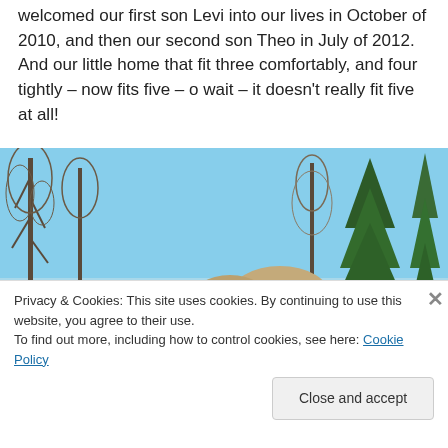welcomed our first son Levi into our lives in October of 2010, and then our second son Theo in July of 2012. And our little home that fit three comfortably, and four tightly – now fits five – o wait – it doesn't really fit five at all!
[Figure (photo): Outdoor photo showing bare winter trees and evergreen trees under a clear blue sky, with a blue trailer/portable building and a yellow construction vehicle (tractor/backhoe) visible in the lower portion.]
Privacy & Cookies: This site uses cookies. By continuing to use this website, you agree to their use. To find out more, including how to control cookies, see here: Cookie Policy